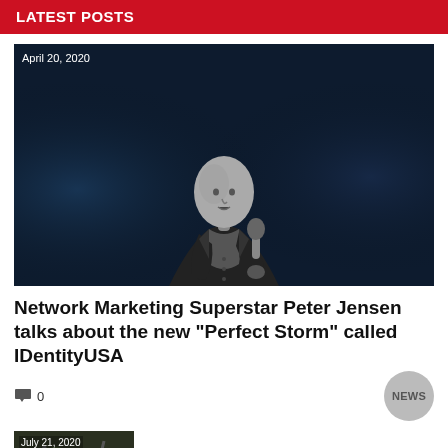LATEST POSTS
[Figure (photo): Bald man in dark suit holding microphone on stage, dark blue background, date overlay April 20, 2020]
Network Marketing Superstar Peter Jensen talks about the new “Perfect Storm” called IDentityUSA
0  NEWS